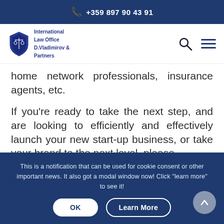+359 897 90 43 91
[Figure (logo): International Law Office D.Vladimirov & Partners shield logo with scales of justice]
home network professionals, insurance agents, etc.
If you’re ready to take the next step, and are looking to efficiently and effectively launch your new start-up business, or take your brand to the next level, please
This is a notification that can be used for cookie consent or other important news. It also got a modal window now! Click "learn more" to see it!